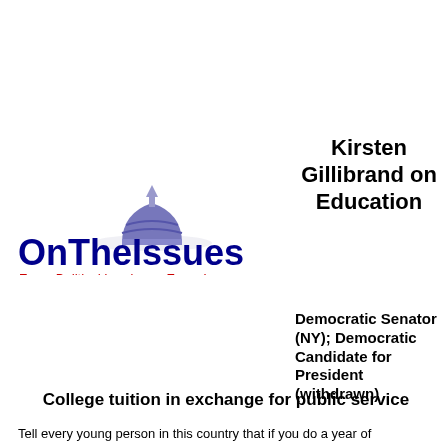[Figure (logo): OnTheIssues logo: dome icon above the text 'OnTheIssues' in dark blue, with tagline 'Every Political Leader on Every Issue' in red below]
Kirsten Gillibrand on Education
Democratic Senator (NY); Democratic Candidate for President (withdrawn)
College tuition in exchange for public service
Tell every young person in this country that if you do a year of